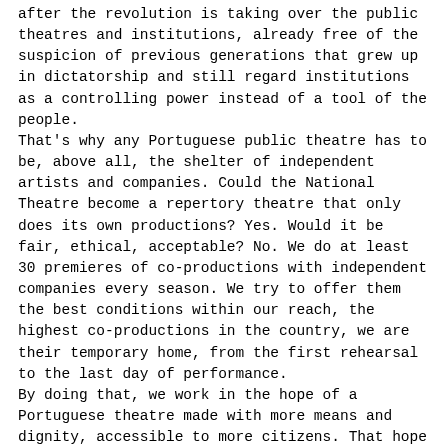after the revolution is taking over the public theatres and institutions, already free of the suspicion of previous generations that grew up in dictatorship and still regard institutions as a controlling power instead of a tool of the people. That's why any Portuguese public theatre has to be, above all, the shelter of independent artists and companies. Could the National Theatre become a repertory theatre that only does its own productions? Yes. Would it be fair, ethical, acceptable? No. We do at least 30 premieres of co-productions with independent companies every season. We try to offer them the best conditions within our reach, the highest co-productions in the country, we are their temporary home, from the first rehearsal to the last day of performance. By doing that, we work in the hope of a Portuguese theatre made with more means and dignity, accessible to more citizens. That hope is the food that nourishes our daily efforts.
4.
Jean-Jacques Rosseau, who hated theatre, wrote a text